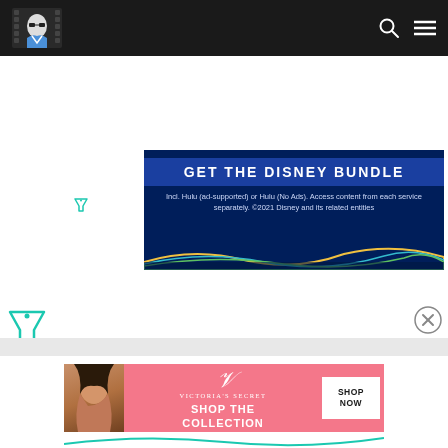Website navigation bar with logo and search/menu icons
[Figure (screenshot): Disney Bundle advertisement banner: dark blue background with 'GET THE DISNEY BUNDLE' heading, subtext 'Incl. Hulu (ad-supported) or Hulu (No Ads). Access content from each service separately. ©2021 Disney and its related entities', colorful wave at bottom]
[Figure (logo): Small ad tracking/filter icon (teal funnel)]
[Figure (logo): Large ad tracking/filter icon (teal funnel) with close X button]
[Figure (screenshot): Victoria's Secret advertisement: pink background with model photo, Victoria's Secret logo, 'SHOP THE COLLECTION' text, and 'SHOP NOW' button]
[Figure (other): Partial teal wave/curve at bottom of page]